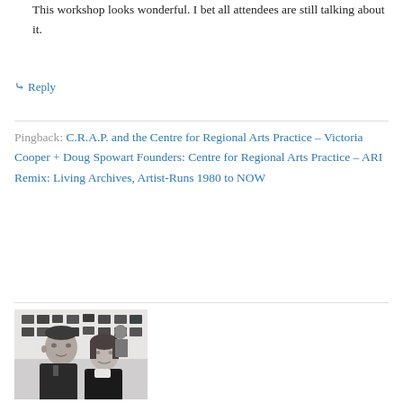This workshop looks wonderful. I bet all attendees are still talking about it.
↳ Reply
Pingback: C.R.A.P. and the Centre for Regional Arts Practice – Victoria Cooper + Doug Spowart Founders: Centre for Regional Arts Practice – ARI Remix: Living Archives, Artist-Runs 1980 to NOW
[Figure (photo): Black and white photograph of two people (a man and a woman) posing together indoors, with framed artwork visible on the wall behind them.]